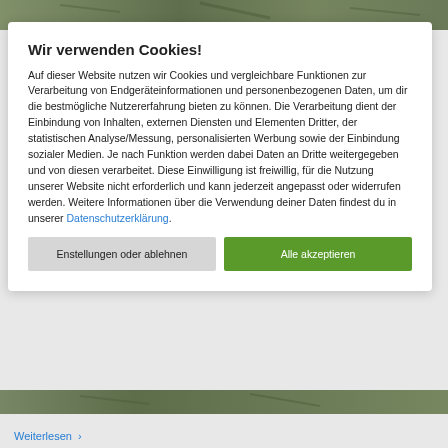[Figure (photo): Top decorative image strip showing outdoor/nature scene]
Wir verwenden Cookies!
Auf dieser Website nutzen wir Cookies und vergleichbare Funktionen zur Verarbeitung von Endgeräteinformationen und personenbezogenen Daten, um dir die bestmögliche Nutzererfahrung bieten zu können. Die Verarbeitung dient der Einbindung von Inhalten, externen Diensten und Elementen Dritter, der statistischen Analyse/Messung, personalisierten Werbung sowie der Einbindung sozialer Medien. Je nach Funktion werden dabei Daten an Dritte weitergegeben und von diesen verarbeitet. Diese Einwilligung ist freiwillig, für die Nutzung unserer Website nicht erforderlich und kann jederzeit angepasst oder widerrufen werden. Weitere Informationen über die Verwendung deiner Daten findest du in unserer Datenschutzerklärung.
Enstellungen oder ablehnen
Alle akzeptieren
[Figure (photo): Bottom decorative image strip showing outdoor/nature scene]
Weiterlesen >